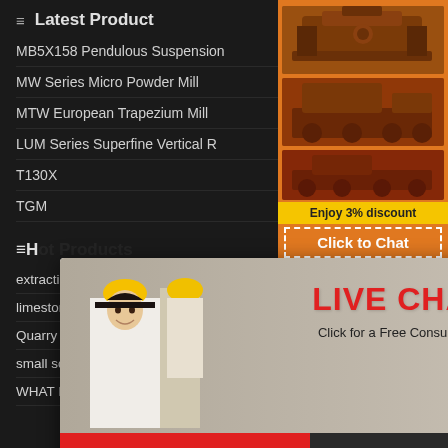Latest Product
MB5X158 Pendulous Suspension
MW Series Micro Powder Mill
MTW European Trapezium Mill
LUM Series Superfine Vertical R
T130X
TGM
Hot
extracting gold from printed circuit boards
limestone extraction processing sand making quarry
Quarry Plant Manufacturer Nigeria
small scale mining machine for gold mining processing
WHAT IS SWING JAWshm stone crusher spare parts
[Figure (screenshot): Live chat popup overlay with woman in hard hat, LIVE CHAT heading in red, Click for a Free Consultation text, Chat now and Chat later buttons]
[Figure (screenshot): Orange sidebar with mining machinery images, Enjoy 3% discount, Click to Chat, Enquiry, limingjlmofen@sina.com]